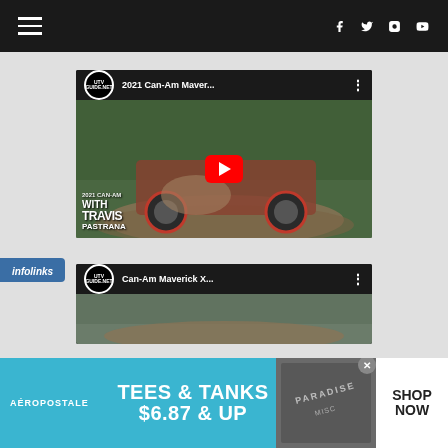Navigation bar with hamburger menu and social icons (Facebook, Twitter, Instagram, YouTube)
[Figure (screenshot): YouTube video thumbnail for '2021 Can-Am Maver...' from UTV Guide.Net channel, showing off-road vehicle in muddy terrain with red play button overlay and 'WITH TRAVIS PASTRANA' text overlay]
[Figure (screenshot): YouTube video thumbnail for 'Can-Am Maverick X...' from UTV Guide.Net channel, partially visible]
[Figure (other): Aeropostale advertisement banner: TEES & TANKS $6.87 & UP with SHOP NOW button]